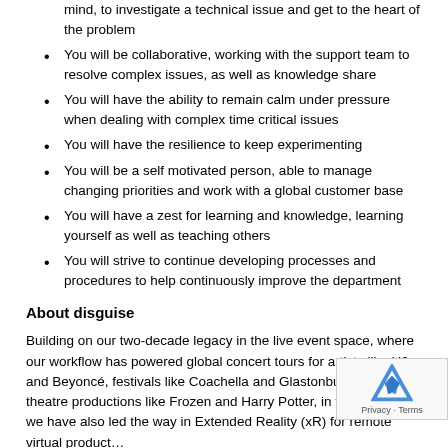mind, to investigate a technical issue and get to the heart of the problem
You will be collaborative, working with the support team to resolve complex issues, as well as knowledge share
You will have the ability to remain calm under pressure when dealing with complex time critical issues
You will have the resilience to keep experimenting
You will be a self motivated person, able to manage changing priorities and work with a global customer base
You will have a zest for learning and knowledge, learning yourself as well as teaching others
You will strive to continue developing processes and procedures to help continuously improve the department
About disguise
Building on our two-decade legacy in the live event space, where our workflow has powered global concert tours for artists like U2 and Beyoncé, festivals like Coachella and Glastonbury and theatre productions like Frozen and Harry Potter, in the past year we have also led the way in Extended Reality (xR) for remote virtual product…
Our award-winning xR workflow has enabled over 300 produ… the past 12 months, for music artists such as Katy Perry and Billie Eilish,